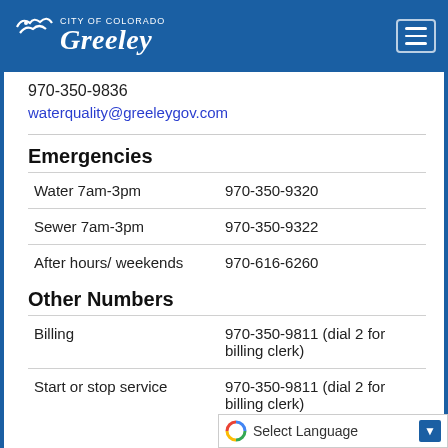City of Greeley
970-350-9836
waterquality@greeleygov.com
Emergencies
|  |  |
| --- | --- |
| Water 7am-3pm | 970-350-9320 |
| Sewer 7am-3pm | 970-350-9322 |
| After hours/ weekends | 970-616-6260 |
Other Numbers
|  |  |
| --- | --- |
| Billing | 970-350-9811 (dial 2 for billing clerk) |
| Start or stop service | 970-350-9811 (dial 2 for billing clerk) |